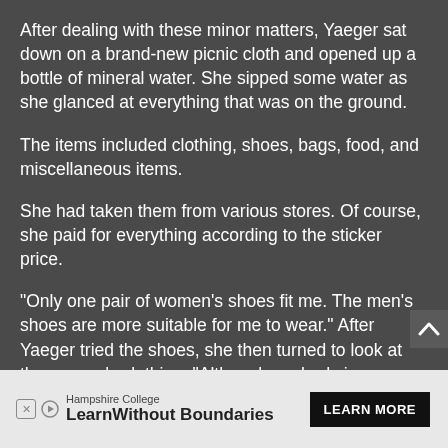After dealing with these minor matters, Yaeger sat down on a brand-new picnic cloth and opened up a bottle of mineral water. She sipped some water as she glanced at everything that was on the ground.
The items included clothing, shoes, bags, food, and miscellaneous items.
She had taken them from various stores. Of course, she paid for everything according to the sticker price.
“Only one pair of women’s shoes fit me. The men’s shoes are more suitable for me to wear.” After Yaeger tried the shoes, she then turned to look at the women’s clothing. “Although my body is now pure and flawless with a fragrant scent, p… een wearing…
[Figure (other): Advertisement banner for Hampshire College with text 'Hampshire College Learn Without Boundaries' and a 'LEARN MORE' button]